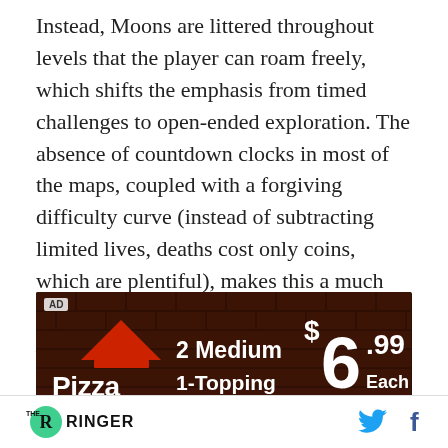Instead, Moons are littered throughout levels that the player can roam freely, which shifts the emphasis from timed challenges to open-ended exploration. The absence of countdown clocks in most of the maps, coupled with a forgiving difficulty curve (instead of subtracting limited lives, deaths cost only coins, which are plentiful), makes this a much more leisurely experience than most Mario titles.
[Figure (other): Advertisement banner for Domino's Pizza: '2 Medium Pizza 1-Topping $6.99 Each' with a red pizza logo on a dark brick background]
THE RINGER [logo] [Twitter icon] [Facebook icon]